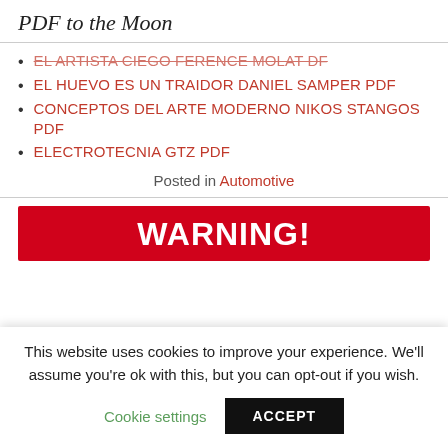PDF to the Moon
EL ARTISTA CIEGO FERENCE MOLAT DF
EL HUEVO ES UN TRAIDOR DANIEL SAMPER PDF
CONCEPTOS DEL ARTE MODERNO NIKOS STANGOS PDF
ELECTROTECNIA GTZ PDF
Posted in Automotive
[Figure (other): Red WARNING! banner image]
This website uses cookies to improve your experience. We'll assume you're ok with this, but you can opt-out if you wish.
Cookie settings   ACCEPT